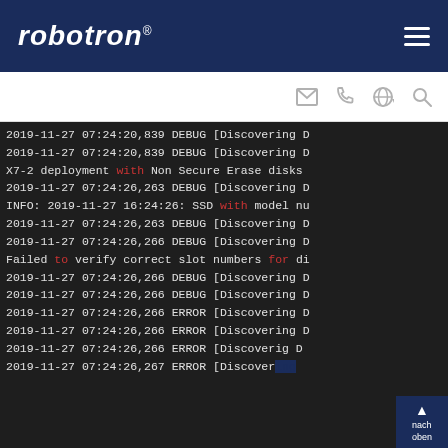robotron®
[Figure (screenshot): Debug/error log terminal output showing timestamped log lines from 2019-11-27 with DEBUG and ERROR entries, partially cut off on right side. Contains highlighted keywords 'with', 'to', 'for' in red.]
nach oben